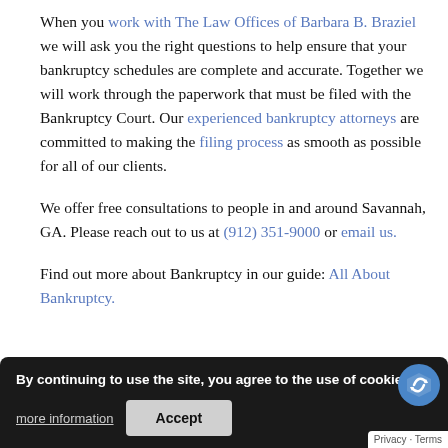When you work with The Law Offices of Barbara B. Braziel we will ask you the right questions to help ensure that your bankruptcy schedules are complete and accurate. Together we will work through the paperwork that must be filed with the Bankruptcy Court. Our experienced bankruptcy attorneys are committed to making the filing process as smooth as possible for all of our clients.
We offer free consultations to people in and around Savannah, GA. Please reach out to us at (912) 351-9000 or email us.
Find out more about Bankruptcy in our guide: All About Bankruptcy.